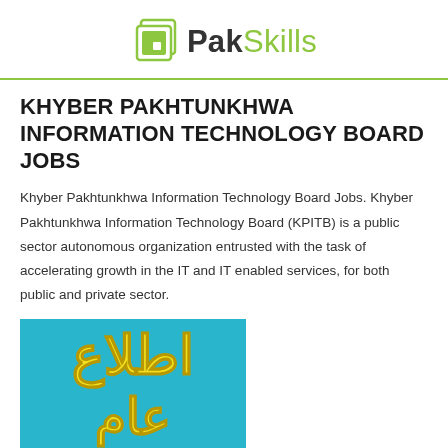PakSkills
KHYBER PAKHTUNKHWA INFORMATION TECHNOLOGY BOARD JOBS
Khyber Pakhtunkhwa Information Technology Board Jobs. Khyber Pakhtunkhwa Information Technology Board (KPITB) is a public sector autonomous organization entrusted with the task of accelerating growth in the IT and IT enabled services, for both public and private sector.
[Figure (illustration): Blue background notice image with Arabic text 'اطلاع عام' written in yellow, meaning public notice/announcement]